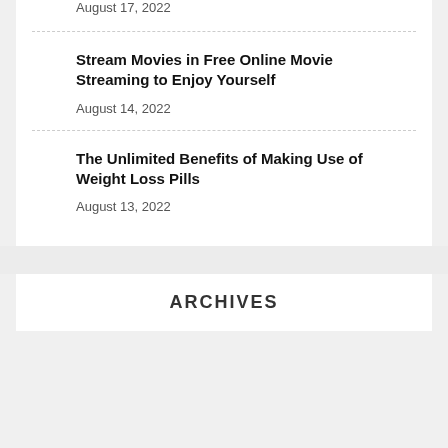August 17, 2022
Stream Movies in Free Online Movie Streaming to Enjoy Yourself
August 14, 2022
The Unlimited Benefits of Making Use of Weight Loss Pills
August 13, 2022
ARCHIVES